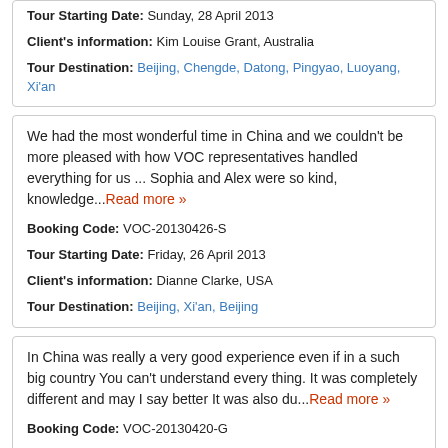Tour Starting Date: Sunday, 28 April 2013
Client's information: Kim Louise Grant, Australia
Tour Destination: Beijing, Chengde, Datong, Pingyao, Luoyang, Xi'an
We had the most wonderful time in China and we couldn't be more pleased with how VOC representatives handled everything for us ... Sophia and Alex were so kind, knowledge...Read more »
Booking Code: VOC-20130426-S
Tour Starting Date: Friday, 26 April 2013
Client's information: Dianne Clarke, USA
Tour Destination: Beijing, Xi'an, Beijing
In China was really a very good experience even if in a such big country You can't understand every thing. It was completely different and may I say better It was also du...Read more »
Booking Code: VOC-20130420-G
Tour Starting Date: Saturday, 20 April 2013